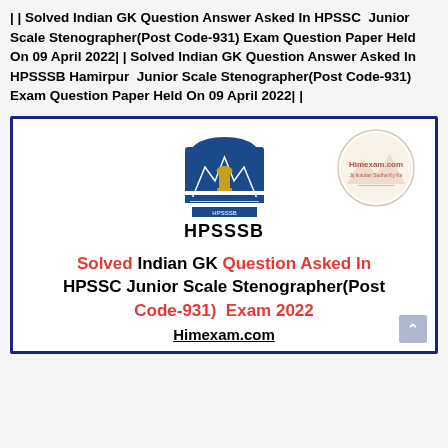| | Solved Indian GK Question Answer Asked In HPSSC Junior Scale Stenographer(Post Code-931) Exam Question Paper Held On 09 April 2022| | Solved Indian GK Question Answer Asked In HPSSSB Hamirpur Junior Scale Stenographer(Post Code-931) Exam Question Paper Held On 09 April 2022| |
[Figure (infographic): Card with HPSSSB logo and Himexam.com watermark, showing text: Solved Indian GK Question Asked In HPSSC Junior Scale Stenographer(Post Code-931) Exam 2022, with Himexam.com link]